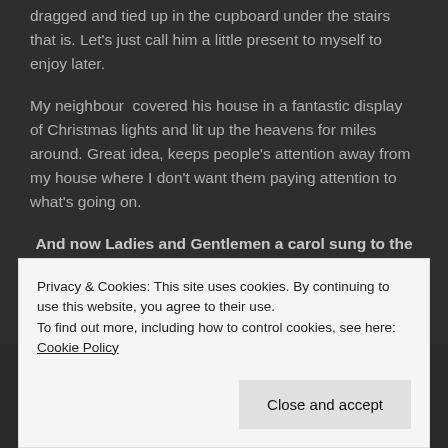dragged and tied up in the cupboard under the stairs that is. Let's just call him a little present to myself to enjoy later.
My neighbour  covered his house in a fantastic display of Christmas lights and lit up the heavens for miles around. Great idea, keeps people's attention away from my house where I don't want them paying attention to what's going on.
And now Ladies and Gentlemen a carol sung to the tune of the nursery rhyme. Four and twenty Blackbirds baked in a pie. To round off our Christmas Horror D'oeuvres. All together now!!!!!
Privacy & Cookies: This site uses cookies. By continuing to use this website, you agree to their use.
To find out more, including how to control cookies, see here: Cookie Policy